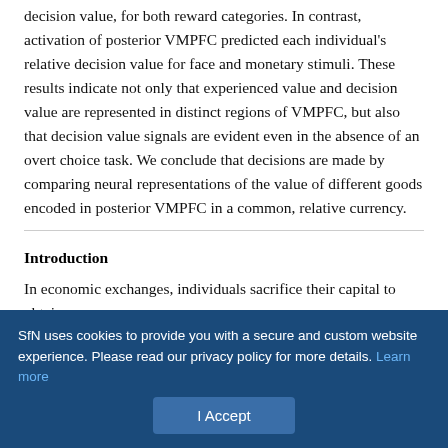decision value, for both reward categories. In contrast, activation of posterior VMPFC predicted each individual's relative decision value for face and monetary stimuli. These results indicate not only that experienced value and decision value are represented in distinct regions of VMPFC, but also that decision value signals are evident even in the absence of an overt choice task. We conclude that decisions are made by comparing neural representations of the value of different goods encoded in posterior VMPFC in a common, relative currency.
Introduction
In economic exchanges, individuals sacrifice their capital to obtain
SfN uses cookies to provide you with a secure and custom website experience. Please read our privacy policy for more details. Learn more